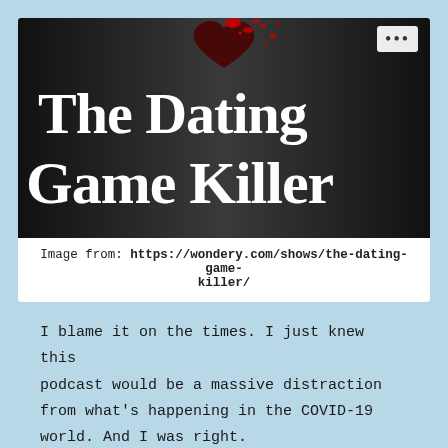[Figure (illustration): Dark atmospheric image showing a dramatic heart shape with red blood splatter on a metallic background, with large white serif text reading 'The Dating Game Killer']
Image from: https://wondery.com/shows/the-dating-game-killer/
I blame it on the times. I just knew this podcast would be a massive distraction from what’s happening in the COVID-19 world. And I was right.